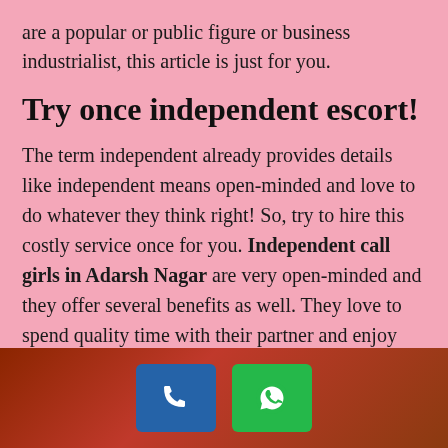are a popular or public figure or business industrialist, this article is just for you.
Try once independent escort!
The term independent already provides details like independent means open-minded and love to do whatever they think right! So, try to hire this costly service once for you. Independent call girls in Adarsh Nagar are very open-minded and they offer several benefits as well. They love to spend quality time with their partner and enjoy unlimited. Forget about the stress and feel she is like your girlfriend or homely. She will never think about the time but she always
[Figure (other): Footer bar with dark red/brown gradient background containing a blue phone call button and a green WhatsApp button with icons]